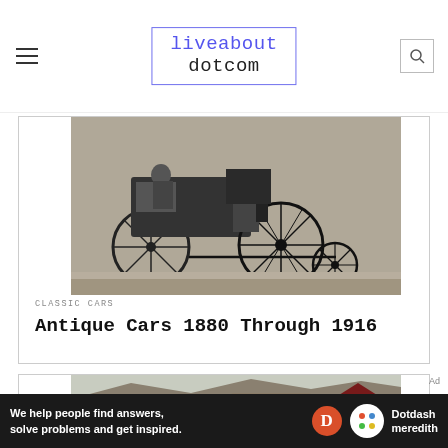liveabout dotcom
[Figure (photo): Black and white photograph of antique horse-drawn carriages from the late 1800s/early 1900s, with spoke wheels and passengers seated.]
CLASSIC CARS
Antique Cars 1880 Through 1916
[Figure (photo): Color photograph of a pickup truck parked at a ranch or farm, with red fencing and rocky hills in the background.]
Ad
We help people find answers, solve problems and get inspired.
Dotdash meredith